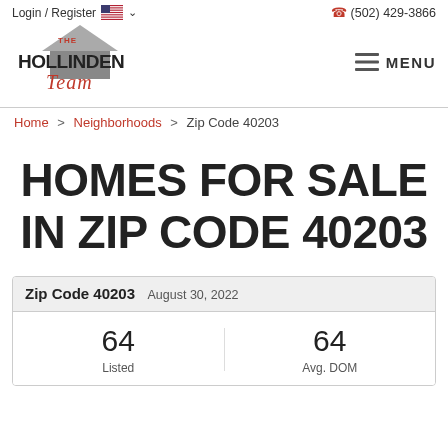Login / Register  🇺🇸 ∨   (502) 429-3866
[Figure (logo): The Hollinden Team real estate logo with house icon]
≡  MENU
Home > Neighborhoods > Zip Code 40203
HOMES FOR SALE IN ZIP CODE 40203
| Zip Code 40203  August 30, 2022 |
| --- |
| 64 Listed | 64 Avg. DOM |